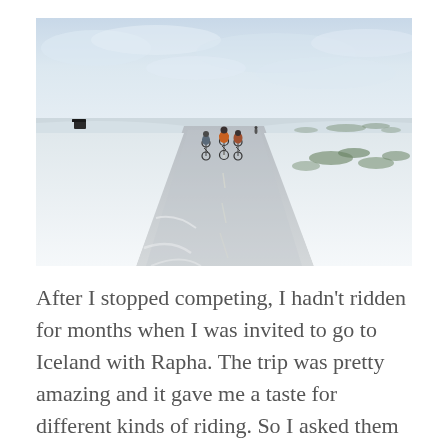[Figure (photo): Cyclists riding on a snow-covered road in Iceland. Three riders visible from behind on a flat, icy road stretching into the distance. The landscape is flat and white with snow, light brush on the right side, pale blue-grey sky with clouds above. One small dark building visible on the left horizon.]
After I stopped competing, I hadn't ridden for months when I was invited to go to Iceland with Rapha. The trip was pretty amazing and it gave me a taste for different kinds of riding. So I asked them